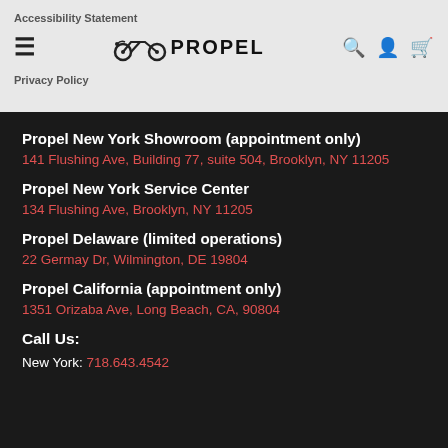Accessibility Statement
[Figure (logo): Propel e-bike brand logo with bicycle icon and PROPEL text]
Privacy Policy
Propel New York Showroom (appointment only)
141 Flushing Ave, Building 77, suite 504, Brooklyn, NY 11205
Propel New York Service Center
134 Flushing Ave, Brooklyn, NY 11205
Propel Delaware (limited operations)
22 Germay Dr, Wilmington, DE 19804
Propel California (appointment only)
1351 Orizaba Ave, Long Beach, CA, 90804
Call Us:
New York: 718.643.4542